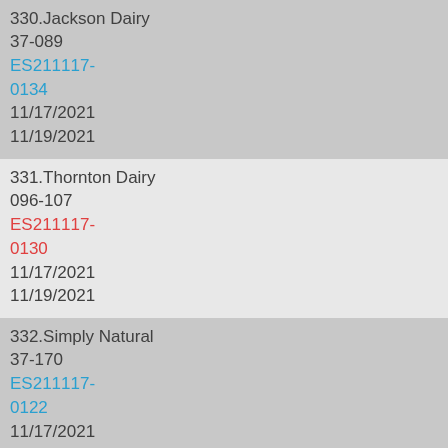330.Jackson Dairy
37-089
ES211117-0134
11/17/2021
11/19/2021
331.Thornton Dairy
096-107
ES211117-0130
11/17/2021
11/19/2021
332.Simply Natural
37-170
ES211117-0122
11/17/2021
11/19/2021
333.CKS Packaging
37-SS-86
ES211117-0073
11/16/2021